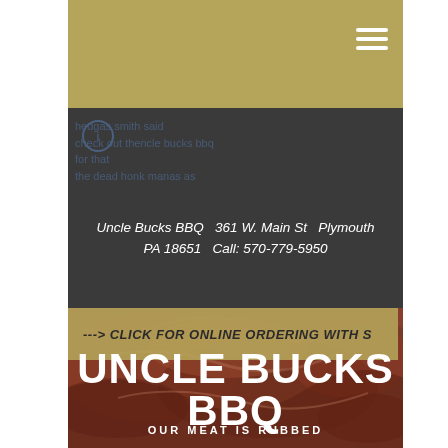[Figure (screenshot): Gold header bar with hamburger menu icon in top right]
[Figure (screenshot): Dark charcoal navigation bar with faded blue overlay text showing social/nav links and circle icon, plus white italic contact info: Uncle Bucks BBQ 361 W. Main St Plymouth PA 18651 Call: 570-779-5950]
Uncle Bucks BBQ   361 W. Main St   Plymouth PA 18651  Call: 570-779-5950
[Figure (photo): Close-up photo of BBQ meat (dark reddish-brown smoked meat texture) as full background]
---> CLICK FOR ONLINE ORDERING WITH S
UNCLE BUCKS BBQ
OUR MEAT IS RUBBED WITH LOVE